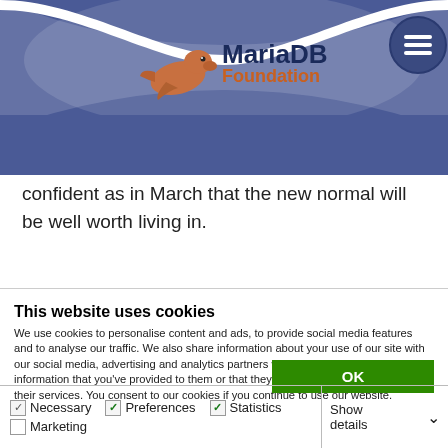[Figure (logo): MariaDB Foundation logo with sea lion and text, on blue curved header background with hamburger menu button]
confident as in March that the new normal will be well worth living in.
This website uses cookies
We use cookies to personalise content and ads, to provide social media features and to analyse our traffic. We also share information about your use of our site with our social media, advertising and analytics partners who may combine it with other information that you've provided to them or that they've collected from your use of their services. You consent to our cookies if you continue to use our website.